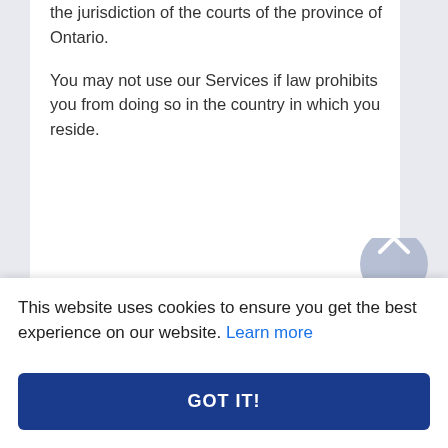the jurisdiction of the courts of the province of Ontario.
You may not use our Services if law prohibits you from doing so in the country in which you reside.
This website uses cookies to ensure you get the best experience on our website. Learn more
GOT IT!